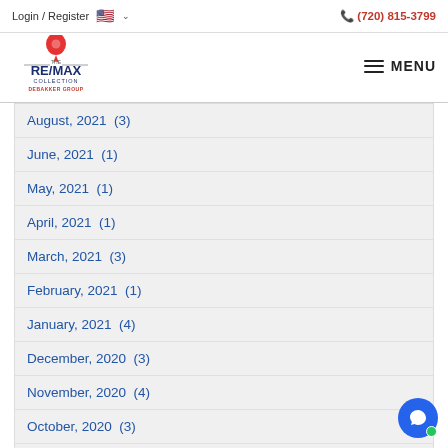Login / Register  🇺🇸 ∨    (720) 815-3799
[Figure (logo): RE/MAX Collection DeBakker Group logo with balloon icon]
MENU
August, 2021  (3)
June, 2021  (1)
May, 2021  (1)
April, 2021  (1)
March, 2021  (3)
February, 2021  (1)
January, 2021  (4)
December, 2020  (3)
November, 2020  (4)
October, 2020  (3)
August, 2020  (4)